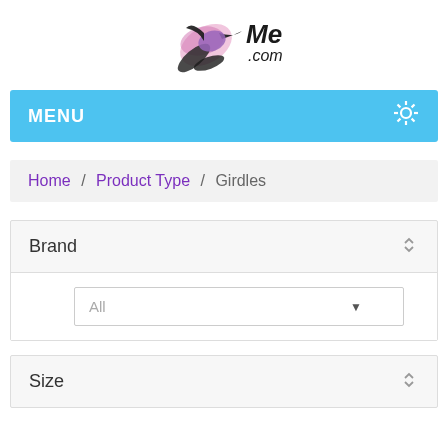[Figure (logo): Website logo with hummingbird/floral illustration and text 'Me .com']
MENU
Home / Product Type / Girdles
Brand
All
Size